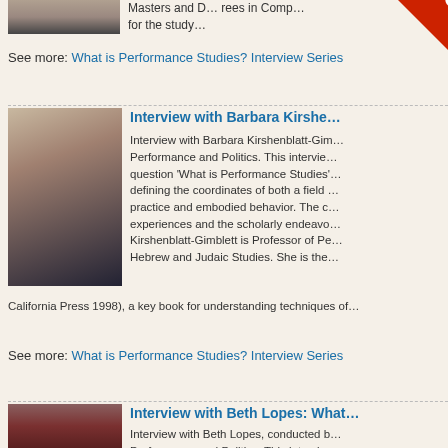[Figure (photo): Partial photo thumbnail of a person at top of page]
Masters and Degrees in Comp... for the study…
See more: What is Performance Studies? Interview Series
[Figure (photo): Photo of Barbara Kirshenblatt-Gimblett facing camera, bookshelves in background]
Interview with Barbara Kirshen...
Interview with Barbara Kirshenblatt-Gim... Performance and Politics. This interview... question 'What is Performance Studies'... defining the coordinates of both a field ... practice and embodied behavior. The c... experiences and the scholarly endeavo... Kirshenblatt-Gimblett is Professor of Pe... Hebrew and Judaic Studies. She is the...
California Press 1998), a key book for understanding techniques of…
See more: What is Performance Studies? Interview Series
[Figure (photo): Photo of Beth Lopes, person with curly dark hair against red background]
Interview with Beth Lopes: What...
Interview with Beth Lopes, conducted b... Performance and Politics. This intervie...